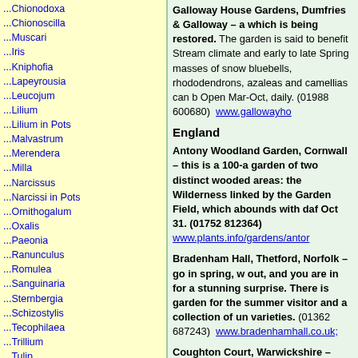...Chionodoxa
...Chionoscilla
...Muscari
...Iris
...Kniphofia
...Lapeyrousia
...Leucojum
...Lilium
...Lilium in Pots
...Malvastrum
...Merendera
...Milla
...Narcissus
...Narcissi in Pots
...Ornithogalum
...Oxalis
...Paeonia
...Ranunculus
...Romulea
...Sanguinaria
...Sternbergia
...Schizostylis
...Tecophilaea
...Trillium
...Tulip
...Zephyranthus
Half-Hardy Bulbs
...Acidanthera
...Albuca
...Alstroemeri
...Andro-stephium
...Bassers
...Boussing-aultias
...Bravoas
...Cypellas
...Dahlias
...Galaxis,
...Geissorhizas
...Hesperanthas
...Gladioli
...Ixias
Galloway House Gardens, Dumfries & Galloway – a which is being restored. The garden is said to benefit Stream climate and early to late Spring masses of snow bluebells, rhododendrons, azaleas and camellias can b Open Mar-Oct, daily. (01988 600680) www.gallowayhо
England
Antony Woodland Garden, Cornwall – this is a 100-a garden of two distinct wooded areas: the Wilderness linked by the Garden Field, which abounds with daf Oct 31. (01752 812364) www.plants.info/gardens/antor
Bradenham Hall, Thetford, Norfolk – go in spring, w out, and you are in for a stunning surprise. There is garden for the summer visitor and a collection of un varieties. (01362 687243) www.bradenhamhall.co.uk;
Coughton Court, Warwickshire – home to the Throc and the only collection of it's kind in Europe. The flo other daffodils and are late-flowering, making them a un gardens here. The National Daffodil Society awarded a outstanding display of daffodils (of which there are now March to Dec (01789 762435) http://www.coughtoncour
Docton Mill, Devon – a delightful garden created aro working water mill with sensational naturalised daf